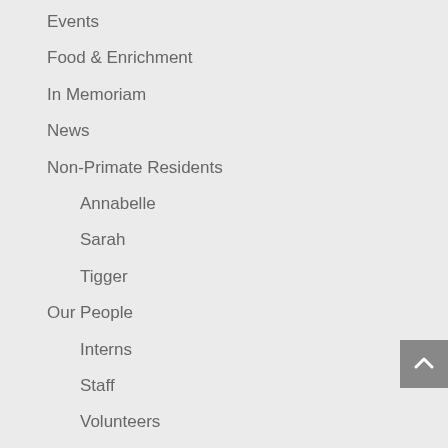Events
Food & Enrichment
In Memoriam
News
Non-Primate Residents
Annabelle
Sarah
Tigger
Our People
Interns
Staff
Volunteers
Projects
Rescue Stories
Rescue Stories Chimps